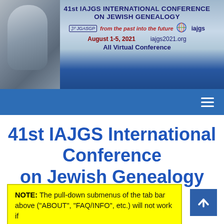[Figure (illustration): Banner header for 41st IAJGS International Conference on Jewish Genealogy. Shows a statue on the left, blue sky background, conference title text, JGASGP and IAJGS logos, tagline 'from the past into the future', dates August 1-5, 2021, website iajgs2021.org, and 'All Virtual Conference'.]
41st IAJGS International Conference on Jewish Genealogy
NOTE: The pull-down submenus of the tab bar above (“ABOUT”, “FAQ/INFO”, etc.) will not work if